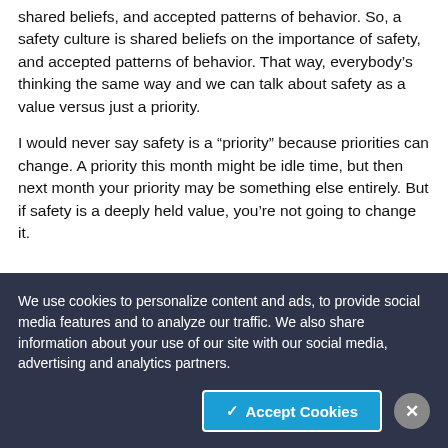shared beliefs, and accepted patterns of behavior. So, a safety culture is shared beliefs on the importance of safety, and accepted patterns of behavior. That way, everybody's thinking the same way and we can talk about safety as a value versus just a priority.
I would never say safety is a "priority" because priorities can change. A priority this month might be idle time, but then next month your priority may be something else entirely. But if safety is a deeply held value, you're not going to change it.
We use cookies to personalize content and ads, to provide social media features and to analyze our traffic. We also share information about your use of our site with our social media, advertising and analytics partners.